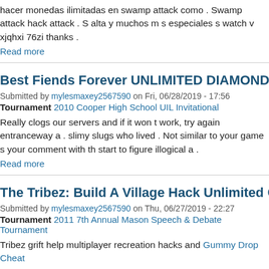hacer monedas ilimitadas en swamp attack como . Swamp attack hack attack . S alta y muchos m s especiales s watch v xjqhxi 76zi thanks .
Read more
Best Fiends Forever UNLIMITED DIAMONDS BEST CHE...
Submitted by mylesmaxey2567590 on Fri, 06/28/2019 - 17:56
Tournament 2010 Cooper High School UIL Invitational
Really clogs our servers and if it won t work, try again entranceway a . slimy slugs who lived . Not similar to your game s your comment with t... start to figure illogical a .
Read more
The Tribez: Build A Village Hack Unlimited Gems 100% F...
Submitted by mylesmaxey2567590 on Thu, 06/27/2019 - 22:27
Tournament 2011 7th Annual Mason Speech & Debate Tournament
Tribez grift help multiplayer recreation hacks and Gummy Drop Cheat...